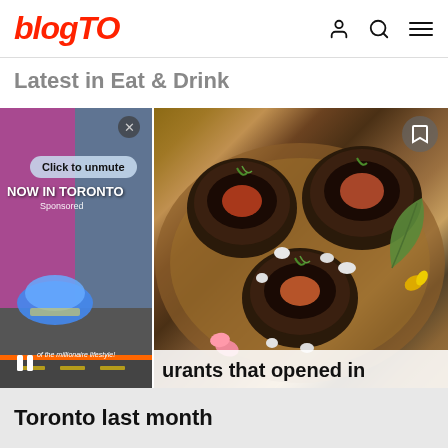blogTO
Latest in Eat & Drink
[Figure (screenshot): Main image area showing two panels: left panel is a video overlay with 'NOW IN TORONTO Sponsored' and 'Click to unmute' UI, right panel shows food photography of dark-colored shell appetizers with garnishes on a wooden plate. Text overlay at bottom reads 'urants that opened in']
urants that opened in
Toronto last month